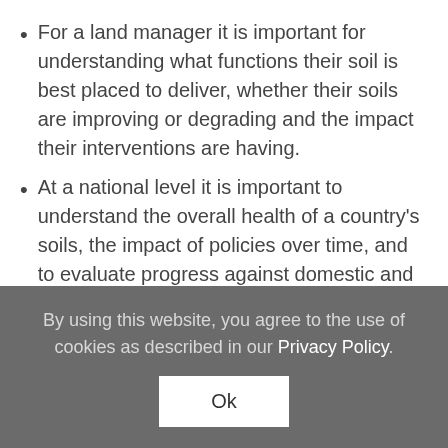For a land manager it is important for understanding what functions their soil is best placed to deliver, whether their soils are improving or degrading and the impact their interventions are having.
At a national level it is important to understand the overall health of a country's soils, the impact of policies over time, and to evaluate progress against domestic and
By using this website, you agree to the use of cookies as described in our Privacy Policy.
Ok